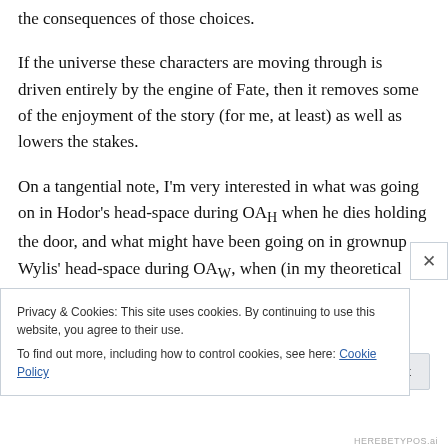the consequences of those choices.
If the universe these characters are moving through is driven entirely by the engine of Fate, then it removes some of the enjoyment of the story (for me, at least) as well as lowers the stakes.
On a tangential note, I'm very interested in what was going on in Hodor's head-space during OAH when he dies holding the door, and what might have been going on in grownup Wylis' head-space during OAW, when (in my theoretical construct) he chose to die holding the door
Privacy & Cookies: This site uses cookies. By continuing to use this website, you agree to their use.
To find out more, including how to control cookies, see here: Cookie Policy
Close and accept
HEREBETYPOS.ai